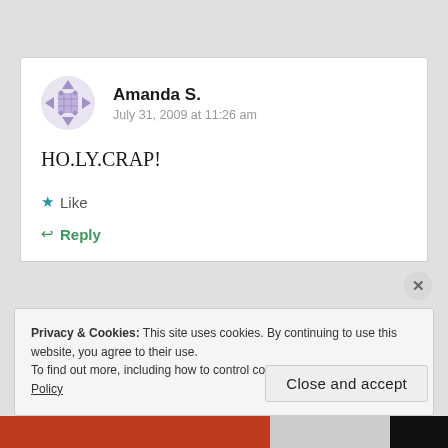[Figure (other): User avatar — decorative geometric/quilt pattern in light purple/lavender]
Amanda S.
July 31, 2009 at 11:26 am
HO.LY.CRAP!
★ Like
↩ Reply
Privacy & Cookies: This site uses cookies. By continuing to use this website, you agree to their use.
To find out more, including how to control cookies, see here: Cookie Policy
Close and accept